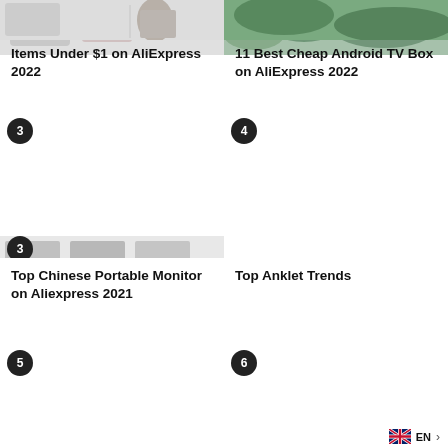[Figure (photo): Cropped photo strip showing items under $1 on AliExpress - light background product images]
Items Under $1 on AliExpress 2022
[Figure (photo): Cropped photo showing Android TV Box area with green/plant background]
11 Best Cheap Android TV Box on AliExpress 2022
[Figure (photo): Numbered badge 3. Portable monitor showing gaming character on dark background, with small product strip at top]
Top Chinese Portable Monitor on Aliexpress 2021
[Figure (photo): Numbered badge 4. Silver anklet bracelet with name charm on white background]
Top Anklet Trends
[Figure (photo): Numbered badge 5. Delivery person in red uniform and mask holding brown paper bag with thumbs up on yellow/orange background]
[Figure (photo): Numbered badge 6. Young woman model posing, with EN language selector overlay in bottom right]